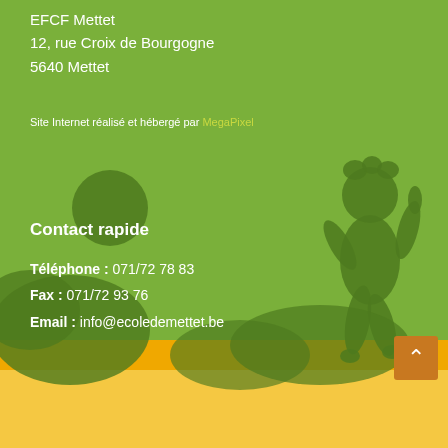EFCF Mettet
12, rue Croix de Bourgogne
5640 Mettet
Site Internet réalisé et hébergé par MegaPixel
[Figure (illustration): Decorative green background with silhouettes of a child playing and bushes, yellow/orange ground stripe at bottom]
Contact rapide
Téléphone : 071/72 78 83
Fax : 071/72 93 76
Email : info@ecoledemettet.be